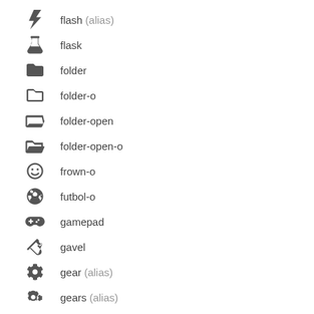flash (alias)
flask
folder
folder-o
folder-open
folder-open-o
frown-o
futbol-o
gamepad
gavel
gear (alias)
gears (alias)
genderless (alias)
gift